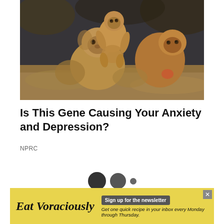[Figure (photo): Two rhesus macaque monkeys, one carrying another on its back, photographed outdoors in natural setting with warm brown tones]
Is This Gene Causing Your Anxiety and Depression?
NPRC
[Figure (other): Three dots pagination indicator: two large dark circles and one smaller circle]
Eat Voraciously — Sign up for the newsletter. Get one quick recipe in your inbox every Monday through Thursday.